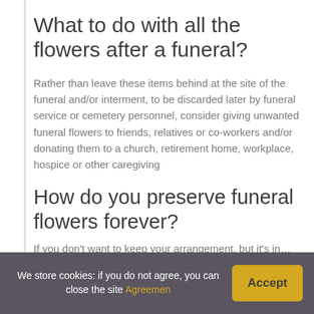What to do with all the flowers after a funeral?
Rather than leave these items behind at the site of the funeral and/or interment, to be discarded later by funeral service or cemetery personnel, consider giving unwanted funeral flowers to friends, relatives or co-workers and/or donating them to a church, retirement home, workplace, hospice or other caregiving
How do you preserve funeral flowers forever?
If you don't want to keep your arrangement, but it's in...
We store cookies: if you do not agree, you can close the site Agreemen